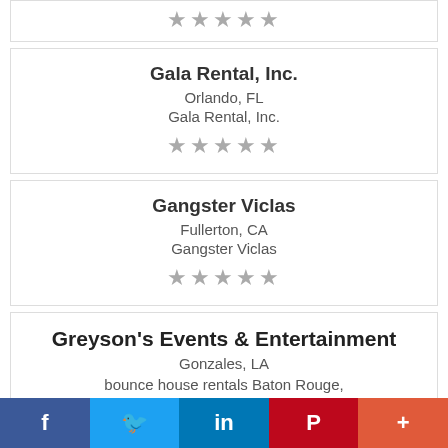[Figure (other): Star rating row (partial, top of page) — 5 empty grey stars]
Gala Rental, Inc.
Orlando, FL
Gala Rental, Inc.
[Figure (other): Star rating — 5 empty grey stars]
Gangster Viclas
Fullerton, CA
Gangster Viclas
[Figure (other): Star rating — 5 empty grey stars]
Greyson's Events & Entertainment
Gonzales, LA
bounce house rentals Baton Rouge, mechanical bull rental Baton Rouge, water slide rentals Baton Rouge, bounce house
f  🐦  in  P  +